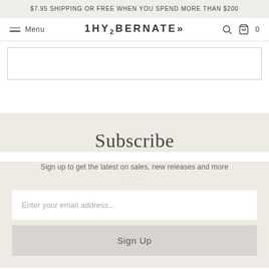$7.95 SHIPPING OR FREE WHEN YOU SPEND MORE THAN $200
1HY2BERNATE
Subscribe
Sign up to get the latest on sales, new releases and more
Enter your email address...
Sign Up